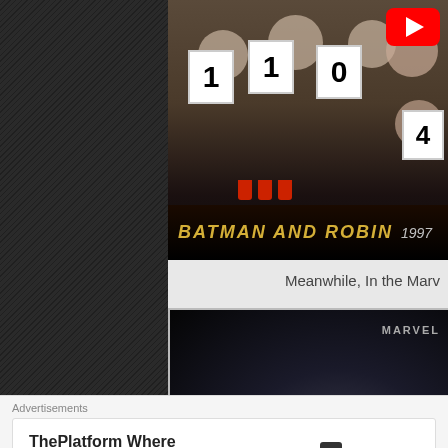[Figure (screenshot): Dark diagonal-striped sidebar panel on the left side of a webpage]
[Figure (screenshot): Video thumbnail showing a group of people holding up score signs reading '1', '1', '0', '4' etc, with a Batman and Robin 1997 title bar and YouTube play button overlay]
Meanwhile, In the Marv
[Figure (screenshot): Second video thumbnail showing The Avengers Marvel movie title with dark metallic styling and a close/dismiss button]
Advertisements
[Figure (other): Advertisement banner: ThePlatform Where WordPress Works Best | Pressable logo]